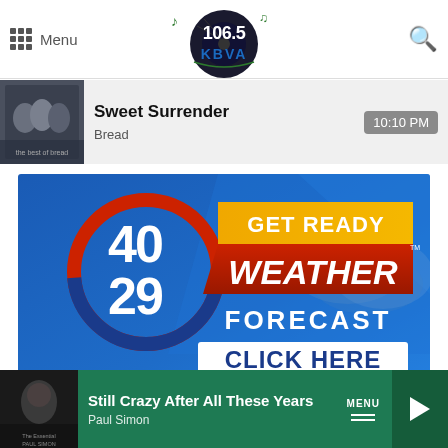[Figure (logo): 106.5 KBVA radio station logo with vinyl record and musical notes]
Menu
[Figure (screenshot): Now playing bar showing Sweet Surrender by Bread at 10:10 PM with album art]
[Figure (infographic): 40/29 Get Ready Weather Forecast - Click Here advertisement banner with blue background]
[Figure (screenshot): Bottom player bar showing Still Crazy After All These Years by Paul Simon with green background and play button]